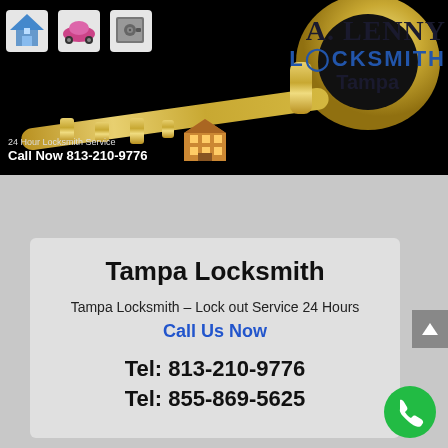[Figure (illustration): A. Lenny Locksmith Tampa banner with a golden key, icons of a house, car, safe, and small building, black background, company name and phone number]
Tampa Locksmith
Tampa Locksmith – Lock out Service 24 Hours
Call Us Now
Tel: 813-210-9776
Tel: 855-869-5625